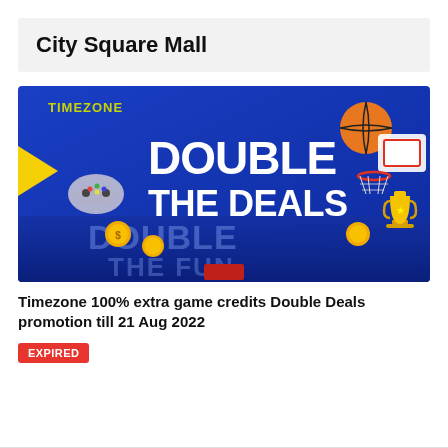City Square Mall
[Figure (illustration): Timezone promotional banner with blue background showing 'DOUBLE THE DEALS' in large white bold text and 'DOUBLE THE FUN' in semi-transparent text below. Features game controller, basketball, basketball hoop, gold coins, and trophy graphics. TIMEZONE logo in yellow-green at top left.]
Timezone 100% extra game credits Double Deals promotion till 21 Aug 2022
EXPIRED